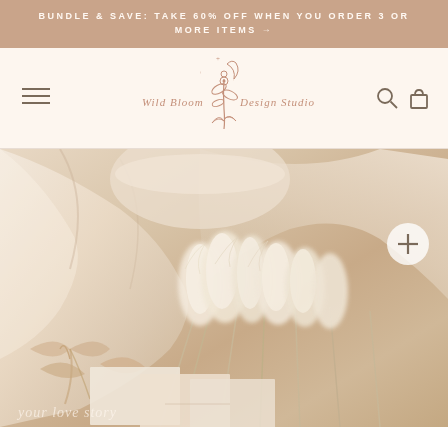BUNDLE & SAVE: TAKE 60% OFF WHEN YOU ORDER 3 OR MORE ITEMS →
[Figure (logo): Wild Bloom Design Studio logo — botanical illustration with crescent moon, stars, and floral arrangement, with text 'Wild Bloom Design Studio' in serif font]
[Figure (photo): Hero lifestyle photo showing cream and ivory silk fabric, pampas grass, ribbon bows, and stationery cards arranged on a warm neutral background. A white circular plus button is visible in the upper right of the image. Script text partially visible at the bottom.]